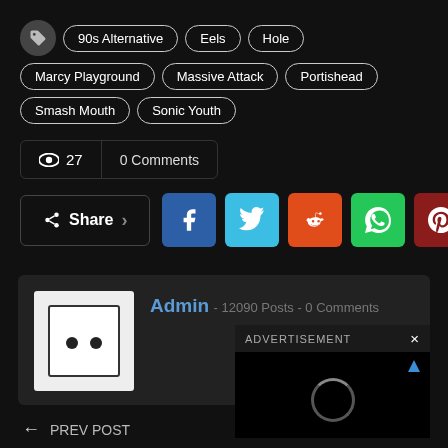90s Alternative, Eels, Hole, Marcy Playground, Massive Attack, Portishead, Smash Mouth, Sonic Youth
👁 27   0 Comments
Share (Facebook, Twitter, Reddit, WhatsApp, Pinterest, +)
Admin - 12090 Posts - 0 Comments
ADVERTISEMENT
← PREV POST